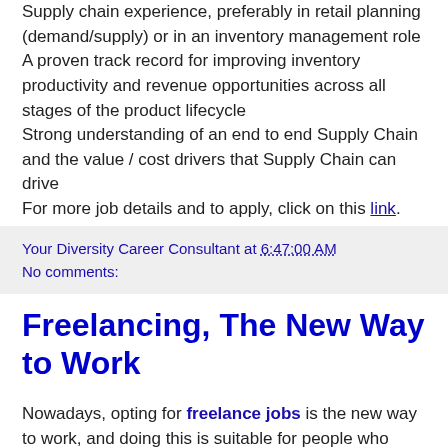Supply chain experience, preferably in retail planning (demand/supply) or in an inventory management role A proven track record for improving inventory productivity and revenue opportunities across all stages of the product lifecycle Strong understanding of an end to end Supply Chain and the value / cost drivers that Supply Chain can drive For more job details and to apply, click on this link.
Your Diversity Career Consultant at 6:47:00 AM
No comments:
Freelancing, The New Way to Work
Nowadays, opting for freelance jobs is the new way to work, and doing this is suitable for people who want more flexibility in their work hours.
By 2020, more than 40% of the US workforce will be so-called contingent workers, according to a study conducted by